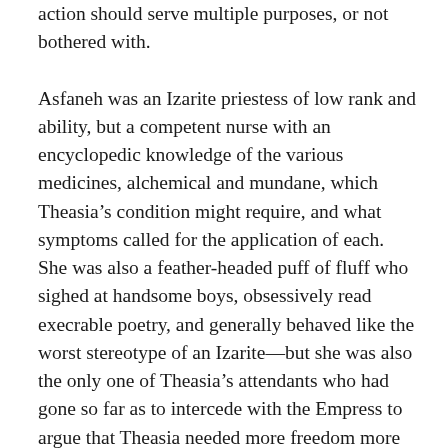action should serve multiple purposes, or not bothered with.
Asfaneh was an Izarite priestess of low rank and ability, but a competent nurse with an encyclopedic knowledge of the various medicines, alchemical and mundane, which Theasia’s condition might require, and what symptoms called for the application of each. She was also a feather-headed puff of fluff who sighed at handsome boys, obsessively read execrable poetry, and generally behaved like the worst stereotype of an Izarite—but she was also the only one of Theasia’s attendants who had gone so far as to intercede with the Empress to argue that Theasia needed more freedom more than she needed coddling. In the face of that loyalty, Theasia was very careful never to let slip how much Asfaneh’s personality annoyed her, and took pains to see to it she was well-rewarded for her service. In fact, she felt rather guilty about involving the poor woman in this escapade, but she had not been willing